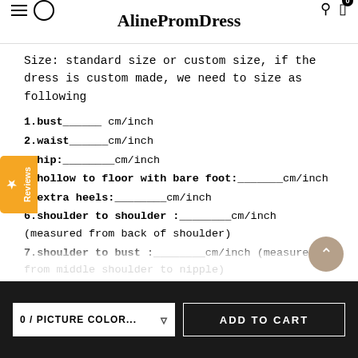AlinePromDress
Size: standard size or custom size, if the dress is custom made, we need to size as following
1.bust______ cm/inch
2.waist______cm/inch
3.hip:________cm/inch
4.hollow to floor with bare foot:_______cm/inch
5.extra heels:________cm/inch
6.shoulder to shoulder :________cm/inch (measured from back of shoulder)
7.shoulder to bust :________cm/inch (measured from middle shoulder to nipple)
8.shoulder to waist :_______cm/inch (measured from middle of shoulder to natural waist)
9.nipple to nipple:______cm/inch
0 / PICTURE COLOR...   ADD TO CART